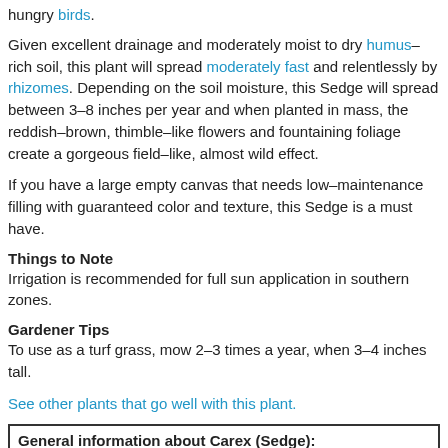hungry birds.
Given excellent drainage and moderately moist to dry humus-rich soil, this plant will spread moderately fast and relentlessly by rhizomes. Depending on the soil moisture, this Sedge will spread between 3-8 inches per year and when planted in mass, the reddish-brown, thimble-like flowers and fountaining foliage create a gorgeous field-like, almost wild effect.
If you have a large empty canvas that needs low-maintenance filling with guaranteed color and texture, this Sedge is a must have.
Things to Note
Irrigation is recommended for full sun application in southern zones.
Gardener Tips
To use as a turf grass, mow 2-3 times a year, when 3-4 inches tall.
See other plants that go well with this plant.
General information about Carex (Sedge): Carex, a splendid Sedge, yields graceful arching foliage that bends